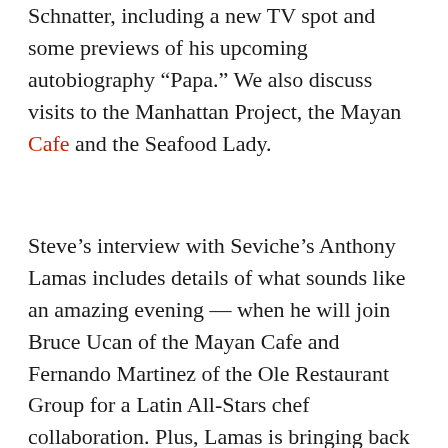Schnatter, including a new TV spot and some previews of his upcoming autobiography “Papa.” We also discuss visits to the Manhattan Project, the Mayan Cafe and the Seafood Lady.
Steve’s interview with Seviche’s Anthony Lamas includes details of what sounds like an amazing evening — when he will join Bruce Ucan of the Mayan Cafe and Fernando Martinez of the Ole Restaurant Group for a Latin All-Stars chef collaboration. Plus, Lamas is bringing back the popular Dinner and a Movie concept in time for Valentine’s Day. Local restaurant workers know all about APRON Inc., the